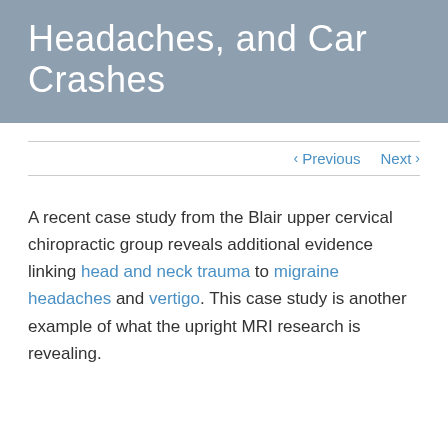Headaches, and Car Crashes
Previous  Next
A recent case study from the Blair upper cervical chiropractic group reveals additional evidence linking head and neck trauma to migraine headaches and vertigo. This case study is another example of what the upright MRI research is revealing.